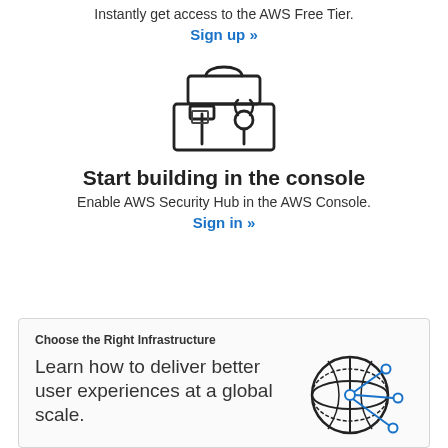Instantly get access to the AWS Free Tier.
Sign up »
[Figure (illustration): Toolbox icon with hammer and wrench, outlined in dark/black line art style]
Start building in the console
Enable AWS Security Hub in the AWS Console.
Sign in »
Choose the Right Infrastructure
Learn how to deliver better user experiences at a global scale.
[Figure (illustration): Globe with network nodes and connections in blue and dark line art style]